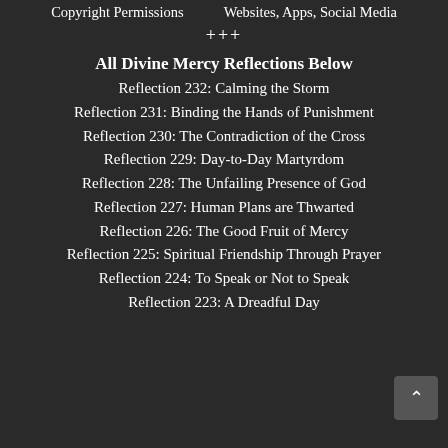Copyright Permissions   Websites, Apps, Social Media
+++
All Divine Mercy Reflections Below
Reflection 232: Calming the Storm
Reflection 231: Binding the Hands of Punishment
Reflection 230: The Contradiction of the Cross
Reflection 229: Day-to-Day Martyrdom
Reflection 228: The Unfailing Presence of God
Reflection 227: Human Plans are Thwarted
Reflection 226: The Good Fruit of Mercy
Reflection 225: Spiritual Friendship Through Prayer
Reflection 224: To Speak or Not to Speak
Reflection 223: A Dreadful Day